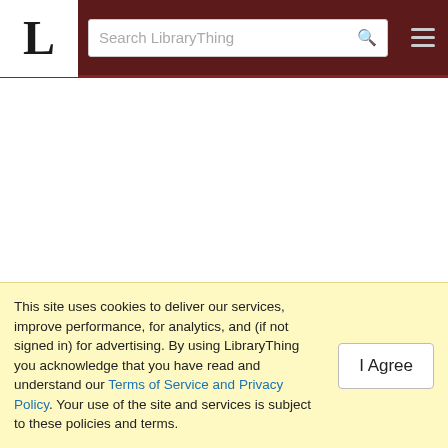LibraryThing — Search LibraryThing
Related Tags
Loading...
Related Series
This site uses cookies to deliver our services, improve performance, for analytics, and (if not signed in) for advertising. By using LibraryThing you acknowledge that you have read and understand our Terms of Service and Privacy Policy. Your use of the site and services is subject to these policies and terms.